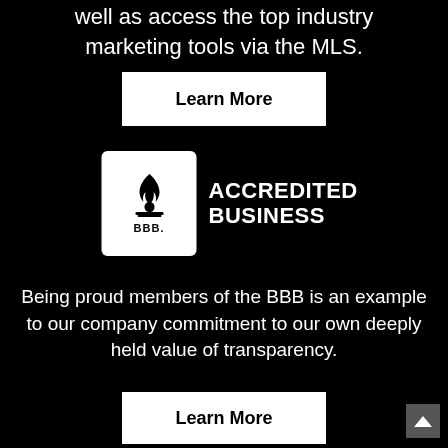well as access the top industry marketing tools via the MLS.
[Figure (other): Learn More button (white rectangle with bold black text)]
[Figure (logo): BBB Accredited Business logo — white badge with flame icon and 'BBB.' text, beside 'ACCREDITED BUSINESS' in bold white text]
Being proud members of the BBB is an example to our company commitment to our own deeply held value of transparency.
[Figure (other): Learn More button (white rectangle with bold black text, partially visible at bottom)]